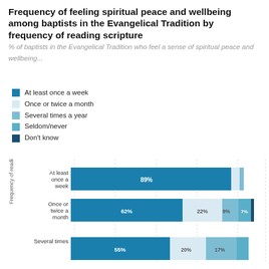Frequency of feeling spiritual peace and wellbeing among baptists in the Evangelical Tradition by frequency of reading scripture
% of baptists in the Evangelical Tradition who feel a sense of spiritual peace and wellbeing...
At least once a week
Once or twice a month
Several times a year
Seldom/never
Don't know
[Figure (stacked-bar-chart): Frequency of feeling spiritual peace and wellbeing among baptists in the Evangelical Tradition by frequency of reading scripture]